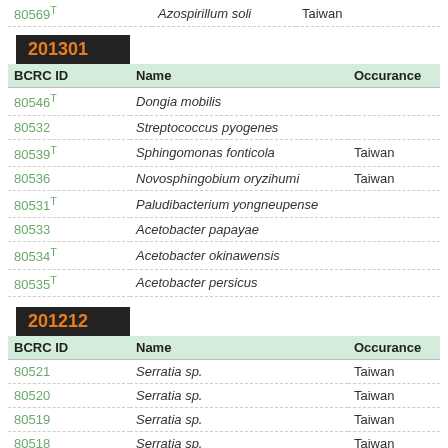| BCRC ID | Name | Occurance |
| --- | --- | --- |
| 80569T | Azospirillum soli | Taiwan |
201301
| BCRC ID | Name | Occurance |
| --- | --- | --- |
| 80546T | Dongia mobilis |  |
| 80532 | Streptococcus pyogenes |  |
| 80539T | Sphingomonas fonticola | Taiwan |
| 80536 | Novosphingobium oryzihumi | Taiwan |
| 80531T | Paludibacterium yongneupense |  |
| 80533 | Acetobacter papayae |  |
| 80534T | Acetobacter okinawensis |  |
| 80535T | Acetobacter persicus |  |
201212
| BCRC ID | Name | Occurance |
| --- | --- | --- |
| 80521 | Serratia sp. | Taiwan |
| 80520 | Serratia sp. | Taiwan |
| 80519 | Serratia sp. | Taiwan |
| 80518 | Serratia sp. | Taiwan |
| 80392T | Chlorobaculum tepidum |  |